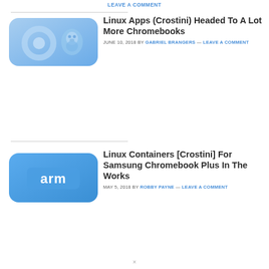LEAVE A COMMENT
[Figure (illustration): Blue rounded rectangle with Chrome and Tux Linux penguin logos, light blue tones]
Linux Apps (Crostini) Headed To A Lot More Chromebooks
JUNE 10, 2018 BY GABRIEL BRANGERS — LEAVE A COMMENT
[Figure (illustration): Blue rounded rectangle with ARM logo text in white on blue background]
Linux Containers [Crostini] For Samsung Chromebook Plus In The Works
MAY 5, 2018 BY ROBBY PAYNE — LEAVE A COMMENT
×